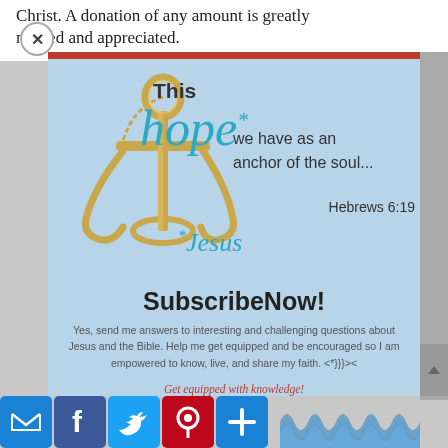Christ. A donation of any amount is greatly needed and appreciated.
[Figure (illustration): Religious subscription popup with a golden anchor illustration, text reading 'This hope* we have as an anchor of the soul... Hebrews 6:19 *Jesus' on a light blue background with a red top border. Below is a Subscribe Now section with descriptive text and a call to action in red italic text. Social sharing buttons (email, Facebook, Twitter, Pinterest, Add) and a wave pattern are at the bottom.]
SubscribeNow!
Yes, send me answers to interesting and challenging questions about Jesus and the Bible.  Help me get equipped and be encouraged so I am empowered to know, live, and share my faith.  <*}}}><
Get equipped with knowledge!
Be encouraged in hope!
Live empowered with love!